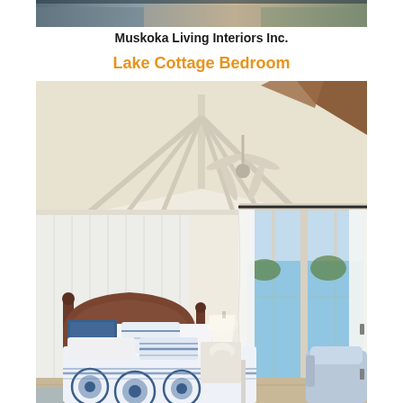[Figure (photo): Partial top image strip showing what appears to be an exterior or landscape photo cropped at the very top of the page]
Muskoka Living Interiors Inc.
Lake Cottage Bedroom
[Figure (photo): Interior photo of a lake cottage bedroom featuring vaulted white-painted wood plank ceiling with exposed beams, ceiling fan, a wood four-poster bed with blue and white patterned bedding and pillows, white lamp on nightstand, large windows with white curtains showing a lake view outside, light hardwood floors, and a light blue upholstered chair in the corner.]